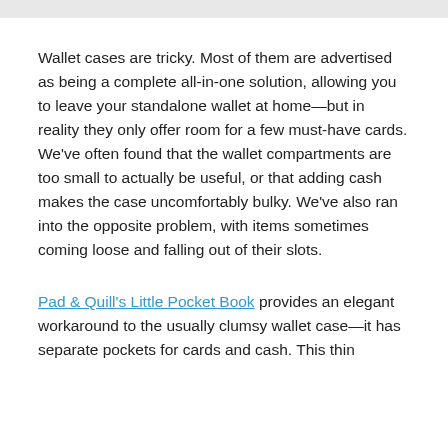Wallet cases are tricky. Most of them are advertised as being a complete all-in-one solution, allowing you to leave your standalone wallet at home—but in reality they only offer room for a few must-have cards. We've often found that the wallet compartments are too small to actually be useful, or that adding cash makes the case uncomfortably bulky. We've also ran into the opposite problem, with items sometimes coming loose and falling out of their slots.
Pad & Quill's Little Pocket Book provides an elegant workaround to the usually clumsy wallet case—it has separate pockets for cards and cash. This thin